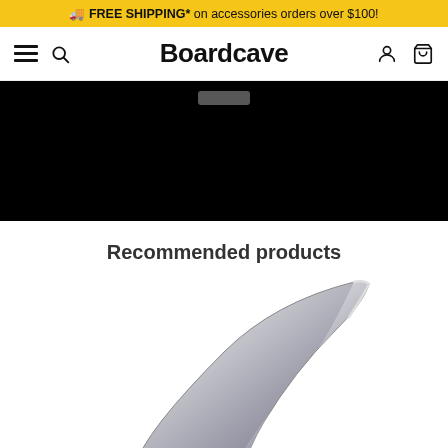🚚 FREE SHIPPING* on accessories orders over $100!
Boardcave
[Figure (screenshot): Black hero banner image with a partially visible grey button at the top]
Recommended products
[Figure (photo): A silver/clear surfboard fin product image on white background]